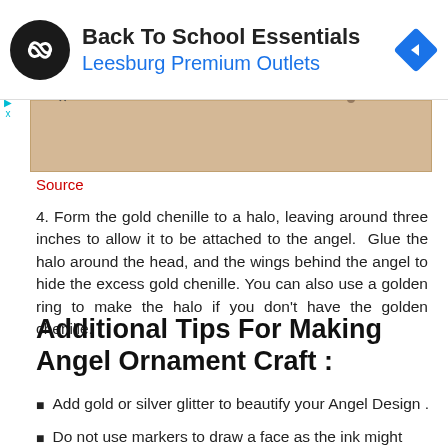[Figure (other): Advertisement banner: Back To School Essentials at Leesburg Premium Outlets with logo and navigation arrow icon]
[Figure (photo): Partial photo of an angel ornament craft item on a beige/tan background]
Source
4. Form the gold chenille to a halo, leaving around three inches to allow it to be attached to the angel. Glue the halo around the head, and the wings behind the angel to hide the excess gold chenille. You can also use a golden ring to make the halo if you don't have the golden chenille.
Additional Tips For Making Angel Ornament Craft :
Add gold or silver glitter to beautify your Angel Design .
Do not use markers to draw a face as the ink might bleed